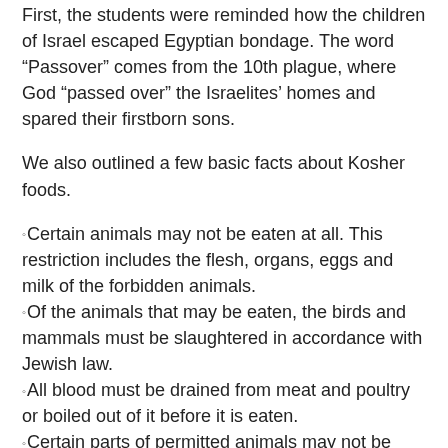First, the students were reminded how the children of Israel escaped Egyptian bondage. The word “Passover” comes from the 10th plague, where God “passed over” the Israelites’ homes and spared their firstborn sons.
We also outlined a few basic facts about Kosher foods.
Certain animals may not be eaten at all. This restriction includes the flesh, organs, eggs and milk of the forbidden animals.
Of the animals that may be eaten, the birds and mammals must be slaughtered in accordance with Jewish law.
All blood must be drained from meat and poultry or boiled out of it before it is eaten.
Certain parts of permitted animals may not be eaten.
Fruits and vegetables are permitted, but must be inspected for bugs (which cannot be eaten).